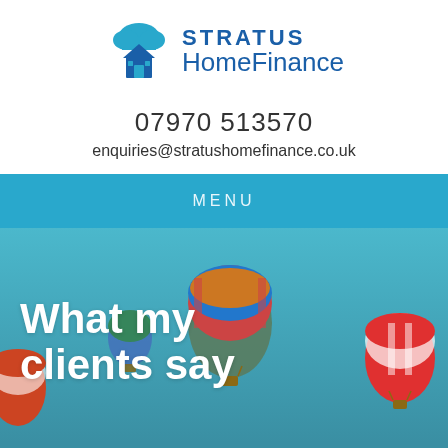[Figure (logo): Stratus Home Finance logo with cloud and house icon in blue]
07970 513570
enquiries@stratushomefinance.co.uk
MENU
[Figure (photo): Hot air balloons floating in a blue sky, used as hero background image]
What my clients say
The best advert for my service is